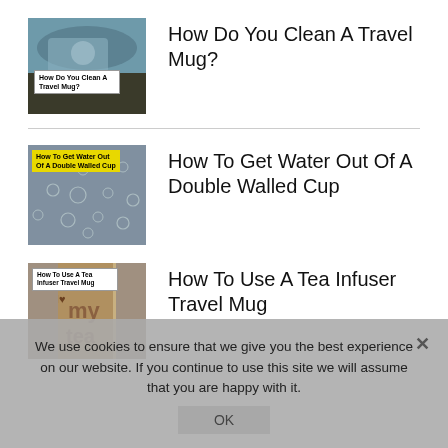[Figure (photo): Thumbnail image of someone cleaning a travel mug in a sink with text label 'How Do You Clean A Travel Mug?']
How Do You Clean A Travel Mug?
[Figure (photo): Thumbnail image of water droplets on a metallic double-walled surface with yellow label 'How To Get Water Out Of A Double Walled Cup']
How To Get Water Out Of A Double Walled Cup
[Figure (photo): Thumbnail image of a tea infuser travel mug with white label 'How To Use A Tea Infuser Travel Mug']
How To Use A Tea Infuser Travel Mug
We use cookies to ensure that we give you the best experience on our website. If you continue to use this site we will assume that you are happy with it.